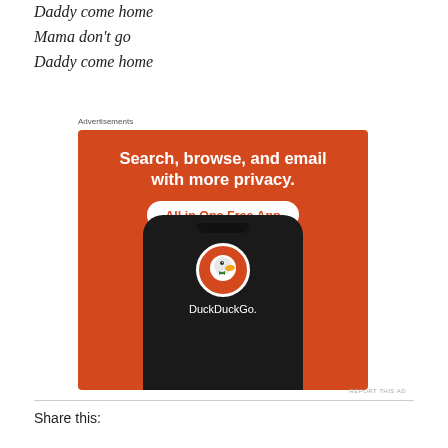Daddy come home
Mama don't go
Daddy come home
Advertisements
[Figure (photo): DuckDuckGo advertisement banner. Orange background with white bold text: 'Search, browse, and email with more privacy.' White rounded pill button with orange text: 'All in One Free App'. Shows a black smartphone with DuckDuckGo logo and brand name.]
REPORT THIS AD
Share this: